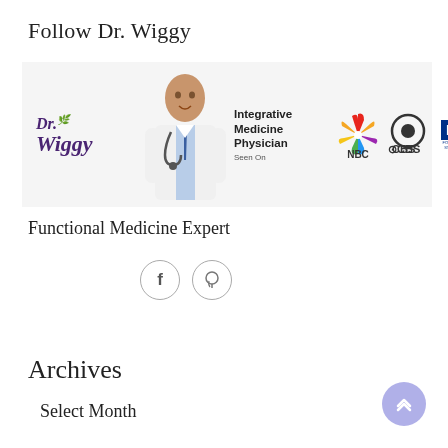Follow Dr. Wiggy
[Figure (logo): Dr. Wiggy banner showing the Dr. Wiggy logo, a photo of Dr. Wiggy in a white coat, text 'Integrative Medicine Physician Seen On', NBC logo, CBS logo, and FOX logo]
Functional Medicine Expert
[Figure (infographic): Social media icons: Facebook (f) and Pinterest (pin icon) in circular outlines]
Archives
Select Month